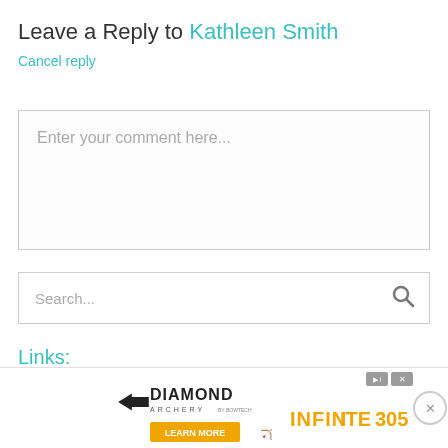Leave a Reply to Kathleen Smith
Cancel reply
Enter your comment here...
Search...
Links:
[Figure (photo): Quilt pattern advertisement banner with colorful diamond/triangle quilt fabric pieces visible at top, and Diamond Archery INFINITE 305 advertisement at bottom]
DIAMOND ARCHERY INFINITE305 LEARN MORE